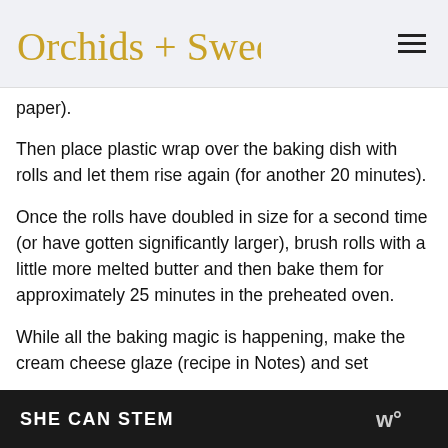Orchids + Sweet Tea [logo]
paper).
Then place plastic wrap over the baking dish with rolls and let them rise again (for another 20 minutes).
Once the rolls have doubled in size for a second time (or have gotten significantly larger), brush rolls with a little more melted butter and then bake them for approximately 25 minutes in the preheated oven.
While all the baking magic is happening, make the cream cheese glaze (recipe in Notes) and set
SHE CAN STEM